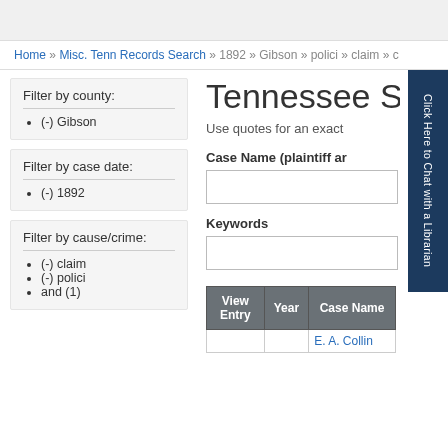Home » Misc. Tenn Records Search » 1892 » Gibson » polici » claim » c
Filter by county:
(-) Gibson
Filter by case date:
(-) 1892
Filter by cause/crime:
(-) claim
(-) polici
and (1)
Tennessee S
Use quotes for an exact
Case Name (plaintiff ar
Keywords
| View Entry | Year | Case Name |
| --- | --- | --- |
|  |  | E. A. Collin |